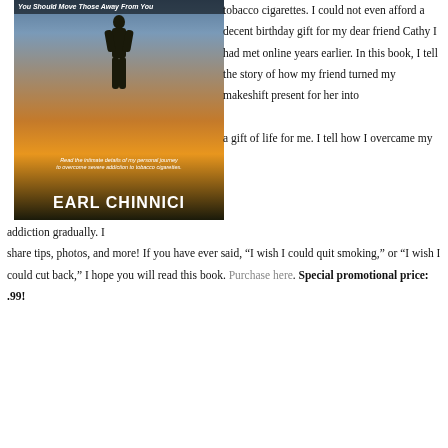[Figure (illustration): Book cover for Earl Chinnici showing silhouette of a person standing against a sunset sky. Title text reads 'You Should Move Those Away From You'. Subtitle: 'Read the intimate details of my personal journey to overcome severe addiction to tobacco cigarettes.' Author name: EARL CHINNICI.]
tobacco cigarettes. I could not even afford a decent birthday gift for my dear friend Cathy I had met online years earlier. In this book, I tell the story of how my friend turned my makeshift present for her into a gift of life for me. I tell how I overcame my addiction gradually. I share tips, photos, and more! If you have ever said, “I wish I could quit smoking,” or “I wish I could cut back,” I hope you will read this book. Purchase here. Special promotional price: .99!